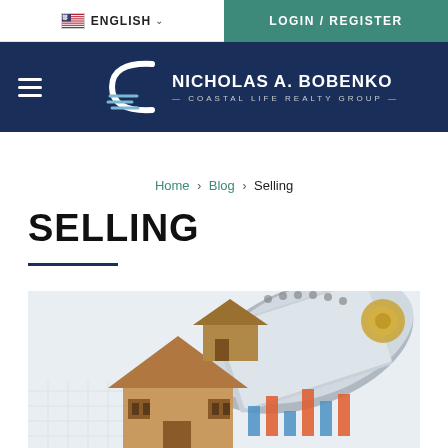ENGLISH | LOGIN / REGISTER
[Figure (logo): Nicholas A. Bobenko Coastal Life Realty Group logo with stylized C icon on dark navy background]
Home > Blog > Selling
SELLING
[Figure (photo): Wooden house model miniature in foreground with financial charts and books in background, real estate selling concept photo]